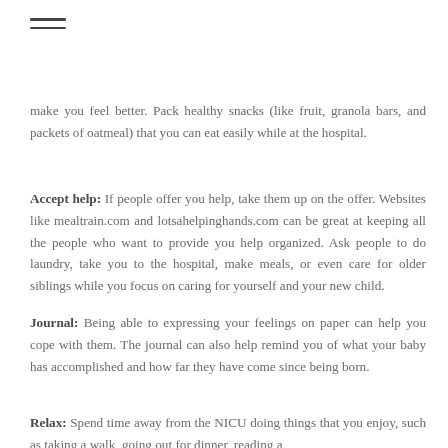[Figure (other): Hamburger menu icon (three horizontal lines) in top left corner]
make you feel better. Pack healthy snacks (like fruit, granola bars, and packets of oatmeal) that you can eat easily while at the hospital.
Accept help: If people offer you help, take them up on the offer. Websites like mealtrain.com and lotsahelpinghands.com can be great at keeping all the people who want to provide you help organized. Ask people to do laundry, take you to the hospital, make meals, or even care for older siblings while you focus on caring for yourself and your new child.
Journal: Being able to expressing your feelings on paper can help you cope with them. The journal can also help remind you of what your baby has accomplished and how far they have come since being born.
Relax: Spend time away from the NICU doing things that you enjoy, such as taking a walk, going out for dinner, reading a